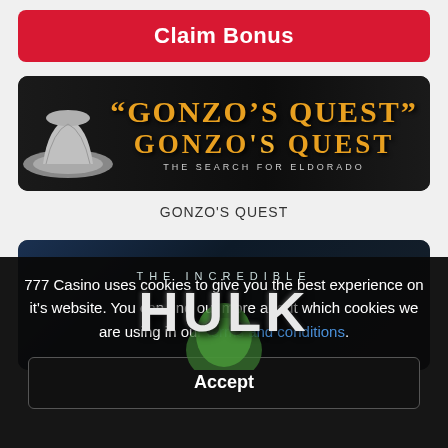Claim Bonus
[Figure (screenshot): Gonzo's Quest slot game banner with cowboy hat and orange stylized text on black background]
GONZO'S QUEST
[Figure (screenshot): The Incredible Hulk slot game banner with large silver HULK text and green Hulk figure on dark blue background]
777 Casino uses cookies to give you the best experience on it's website. You can find out more about which cookies we are using in our terms and conditions.
Accept